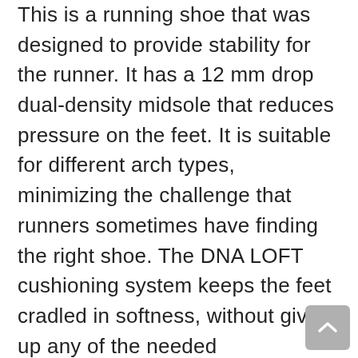This is a running shoe that was designed to provide stability for the runner. It has a 12 mm drop dual-density midsole that reduces pressure on the feet. It is suitable for different arch types, minimizing the challenge that runners sometimes have finding the right shoe. The DNA LOFT cushioning system keeps the feet cradled in softness, without giving up any of the needed responsiveness. With a roomy toe box and breathable engineered mesh, this running shoe is ideal for long exercise sessions. With hard carbon rubber under the heel, this shoe can take the punishment of frequent heel strikes, and there is plenty of traction provided by the soft rubber at the forefoot.